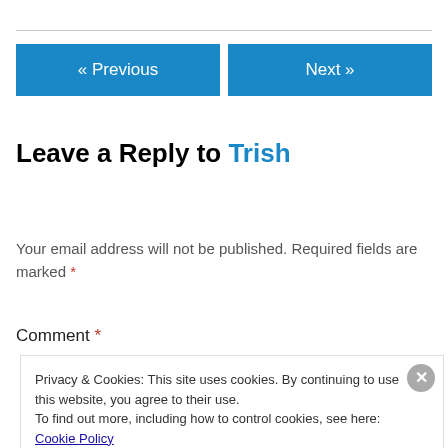« Previous | Next »
Leave a Reply to Trish
Cancel reply
Your email address will not be published. Required fields are marked *
Comment *
Privacy & Cookies: This site uses cookies. By continuing to use this website, you agree to their use. To find out more, including how to control cookies, see here: Cookie Policy
Close and accept